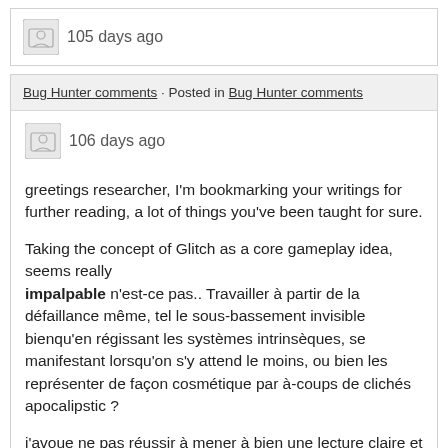105 days ago
Bug Hunter comments · Posted in Bug Hunter comments
106 days ago
greetings researcher, I'm bookmarking your writings for further reading, a lot of things you've been taught for sure.

Taking the concept of Glitch as a core gameplay idea, seems really impalpable n'est-ce pas.. Travailler à partir de la défaillance même, tel le sous-bassement invisible bienqu'en régissant les systèmes intrinsèques, se manifestant lorsqu'on s'y attend le moins, ou bien les représenter de façon cosmétique par à-coups de clichés apocalipstic ?

j'avoue ne pas réussir à mener à bien une lecture claire et